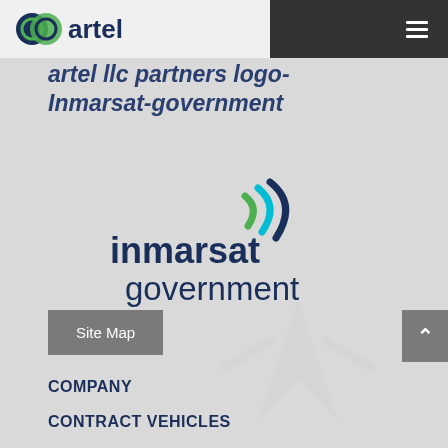[Figure (logo): Artel LLC logo with two interlocking circles (dark blue and green) next to the word 'artel' in dark blue bold text]
[Figure (logo): Inmarsat government logo with signal wave marks in green, teal, and dark blue above the text 'inmarsat government' in dark navy]
artel llc partners logo-Inmarsat-government
Site Map
COMPANY
CONTRACT VEHICLES